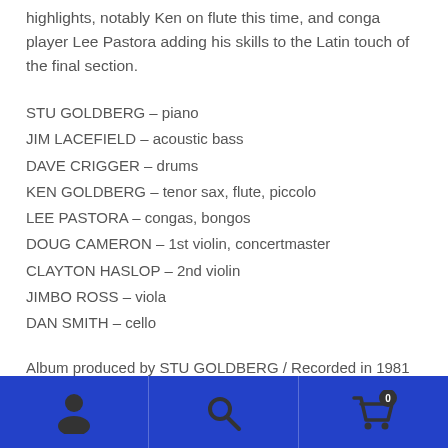highlights, notably Ken on flute this time, and conga player Lee Pastora adding his skills to the Latin touch of the final section.
STU GOLDBERG – piano
JIM LACEFIELD – acoustic bass
DAVE CRIGGER – drums
KEN GOLDBERG – tenor sax, flute, piccolo
LEE PASTORA – congas, bongos
DOUG CAMERON – 1st violin, concertmaster
CLAYTON HASLOP – 2nd violin
JIMBO ROSS – viola
DAN SMITH – cello
Album produced by STU GOLDBERG / Recorded in 1981
[Figure (other): Blue footer navigation bar with three icons: person/user icon, search/magnifying glass icon, and shopping cart with badge icon]